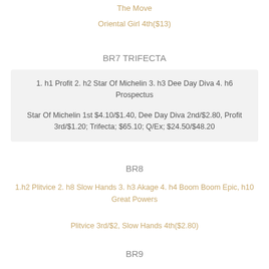The Move
Oriental Girl 4th($13)
BR7 TRIFECTA
1. h1 Profit 2. h2 Star Of Michelin 3. h3 Dee Day Diva 4. h6 Prospectus
Star Of Michelin 1st $4.10/$1.40, Dee Day Diva 2nd/$2.80, Profit 3rd/$1.20; Trifecta; $65.10; Q/Ex; $24.50/$48.20
BR8
1.h2 Plitvice 2. h8 Slow Hands 3. h3 Akage 4. h4 Boom Boom Epic, h10 Great Powers
Plitvice 3rd/$2, Slow Hands 4th($2.80)
BR9